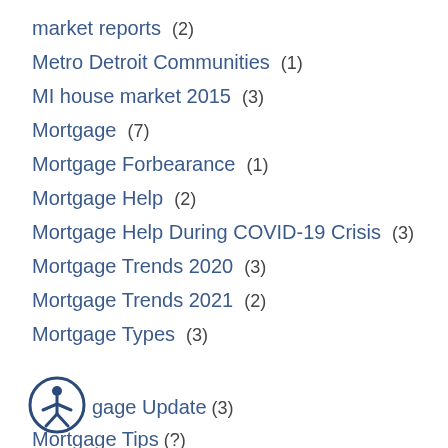market reports (2)
Metro Detroit Communities (1)
MI house market 2015 (3)
Mortgage (7)
Mortgage Forbearance (1)
Mortgage Help (2)
Mortgage Help During COVID-19 Crisis (3)
Mortgage Trends 2020 (3)
Mortgage Trends 2021 (2)
Mortgage Types (3)
Mortgage Update (3)
Mortgage Tips (?)